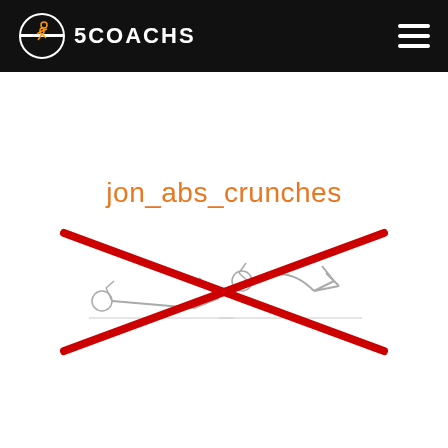5COACHS
jon_abs_crunches
[Figure (illustration): Two line-drawing figures performing abs crunches exercise, crossed out with a large red X, indicating the exercise is not recommended.]